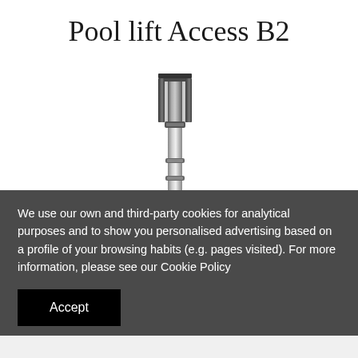Pool lift Access B2
[Figure (photo): Product photo of Pool lift Access B2 — a stainless steel pool lift post/column assembly shown upright against a white background]
We use our own and third-party cookies for analytical purposes and to show you personalised advertising based on a profile of your browsing habits (e.g. pages visited). For more information, please see our Cookie Policy
Accept